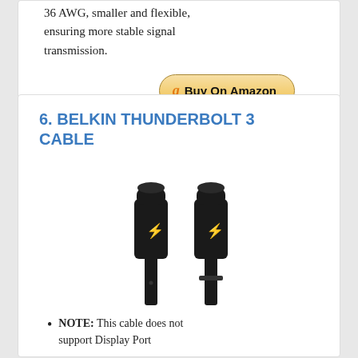36 AWG, smaller and flexible, ensuring more stable signal transmission.
[Figure (other): Buy On Amazon button with Amazon logo]
6. BELKIN THUNDERBOLT 3 CABLE
[Figure (photo): Two black Belkin Thunderbolt 3 USB-C cable connectors side by side]
NOTE: This cable does not support Display Port